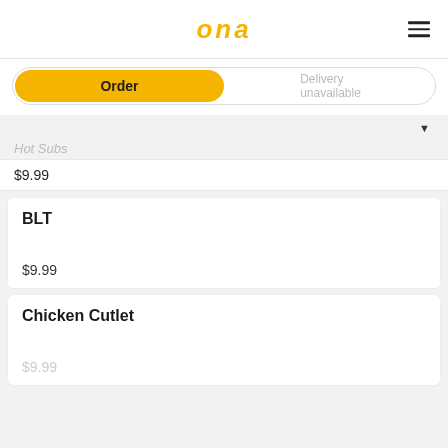ona
Order | Delivery unavailable
Hot Subs
$9.99
BLT
$9.99
Chicken Cutlet
$9.99